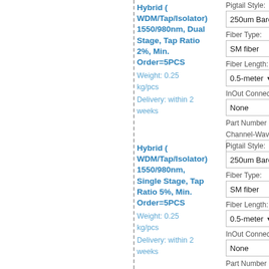Hybrid (WDM/Tap/Isolator) 1550/980nm, Dual Stage, Tap Ratio 2%, Min. Order=5PCS
Weight: 0.25 kg/pcs
Delivery: within 2 weeks
Pigtail Style:
250um Bare fiber
Fiber Type:
SM fiber
Fiber Length:
0.5-meter
InOut Connector:
None
Part Number (P/N) and Re
Channel-Wavelength
Hybrid (WDM/Tap/Isolator) 1550/980nm, Single Stage, Tap Ratio 5%, Min. Order=5PCS
Weight: 0.25 kg/pcs
Delivery: within 2 weeks
Pigtail Style:
250um Bare fiber
Fiber Type:
SM fiber
Fiber Length:
0.5-meter
InOut Connector:
None
Part Number (P/N) and Re
Channel-Wavelength